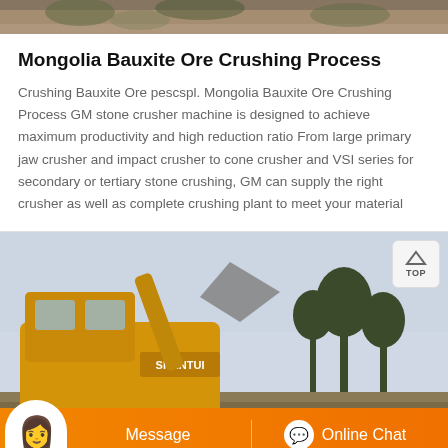[Figure (photo): Top partial image showing background terrain/nature scene, cropped at top]
Mongolia Bauxite Ore Crushing Process
Crushing Bauxite Ore pescspl. Mongolia Bauxite Ore Crushing Process GM stone crusher machine is designed to achieve maximum productivity and high reduction ratio From large primary jaw crusher and impact crusher to cone crusher and VSI series for secondary or tertiary stone crushing, GM can supply the right crusher as well as complete crushing plant to meet your material
[Figure (photo): Photo of a yellow SHANTUI excavator/bulldozer lifting material outdoors with trees in background]